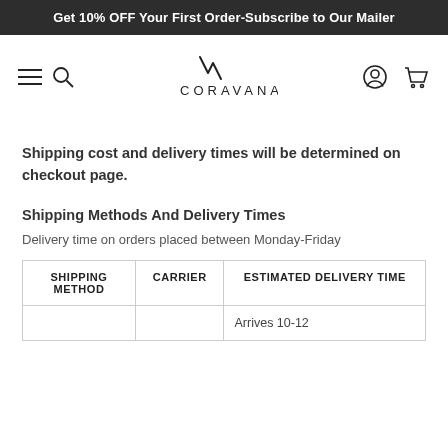Get 10% OFF Your First Order-Subscribe to Our Mailer
[Figure (logo): Coravana logo with navigation icons (hamburger menu, search, user account, cart)]
Shipping cost and delivery times will be determined on checkout page.
Shipping Methods And Delivery Times
Delivery time on orders placed between Monday-Friday
| SHIPPING METHOD | CARRIER | ESTIMATED DELIVERY TIME |
| --- | --- | --- |
|  |  | Arrives 10-12 |